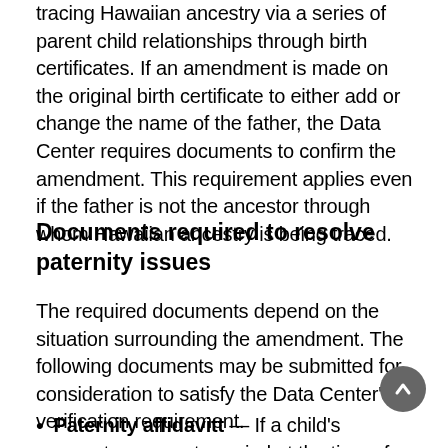tracing Hawaiian ancestry via a series of parent child relationships through birth certificates. If an amendment is made on the original birth certificate to either add or change the name of the father, the Data Center requires documents to confirm the amendment. This requirement applies even if the father is not the ancestor through whom Hawaiian ancestry is being traced.
Documents required to resolve paternity issues
The required documents depend on the situation surrounding the amendment. The following documents may be submitted for consideration to satisfy the Data Center's verification requirement.
Paternity affidavitt — If a child's parents were not married at the time of the child's